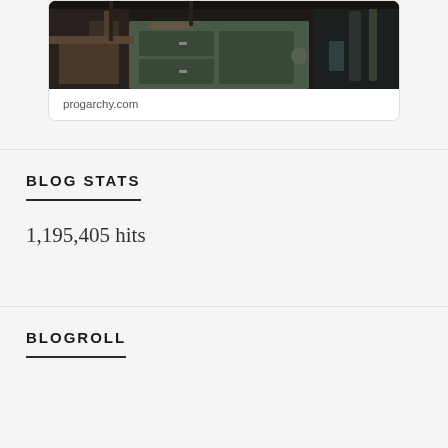[Figure (photo): Photo of a cluttered workshop with tools, wooden workbench, and old cabinet, from progarchy.com]
progarchy.com
BLOG STATS
1,195,405 hits
BLOGROLL